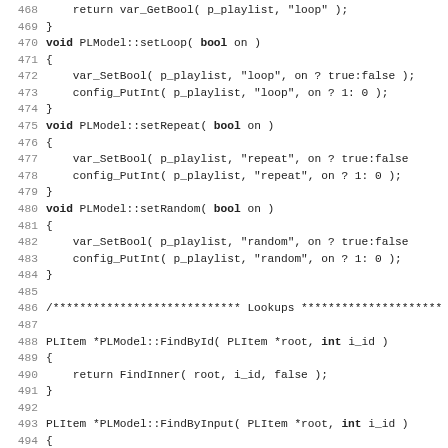[Figure (screenshot): Source code listing in C++ showing lines 468-499 of a PLModel implementation file, including setLoop, setRepeat, setRandom methods, and FindById, FindByInput functions, with CACHE and ICACHE macro definitions at the bottom.]